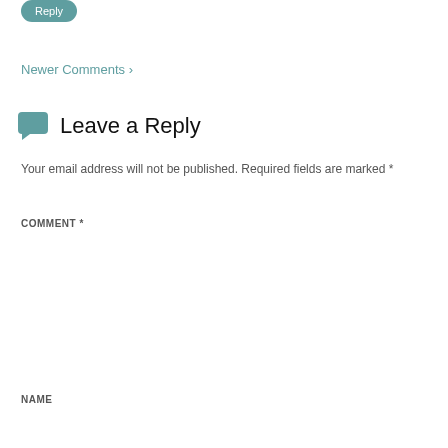Reply
Newer Comments ›
Leave a Reply
Your email address will not be published. Required fields are marked *
COMMENT *
NAME